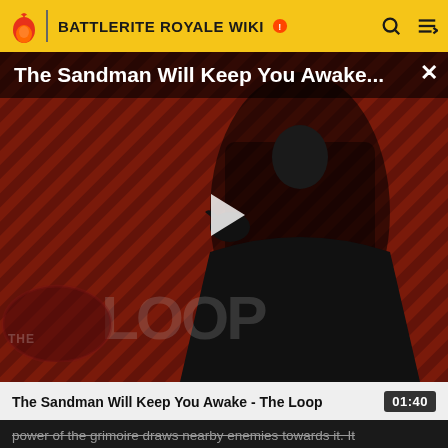BATTLERITE ROYALE WIKI
[Figure (screenshot): Video thumbnail overlay showing 'The Sandman Will Keep You Awake...' title with a dark-cloaked figure against a red diagonal striped background and THE LOOP watermark, with a play button in the center]
The Sandman Will Keep You Awake - The Loop  01:40
power of the grimoire draws nearby enemies towards it. It explodes after 2s, dealing 40 damage.
Impact Delay: